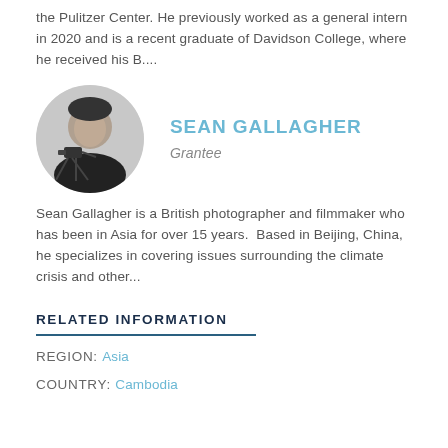the Pulitzer Center. He previously worked as a general intern in 2020 and is a recent graduate of Davidson College, where he received his B....
[Figure (photo): Circular headshot photo of Sean Gallagher, a man holding a camera on a tripod, wearing a black shirt, black and white photo style.]
SEAN GALLAGHER
Grantee
Sean Gallagher is a British photographer and filmmaker who has been in Asia for over 15 years.  Based in Beijing, China, he specializes in covering issues surrounding the climate crisis and other...
RELATED INFORMATION
REGION: Asia
COUNTRY: Cambodia